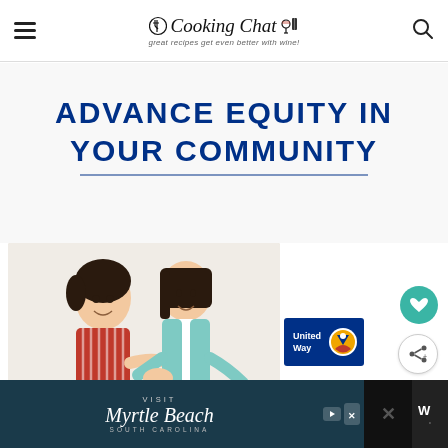Cooking Chat — great recipes get even better with wine!
[Figure (infographic): Advertisement showing two smiling women holding hands with text 'ADVANCE EQUITY IN YOUR COMMUNITY' and United Way logo]
[Figure (photo): Two Asian women smiling and holding hands outdoors against white background]
[Figure (logo): United Way logo — blue rectangle with United Way text and circular multicolor logo]
WHAT'S NEXT →
Bordeaux Braised Bee...
[Figure (infographic): Bottom advertisement for Visit Myrtle Beach, South Carolina]